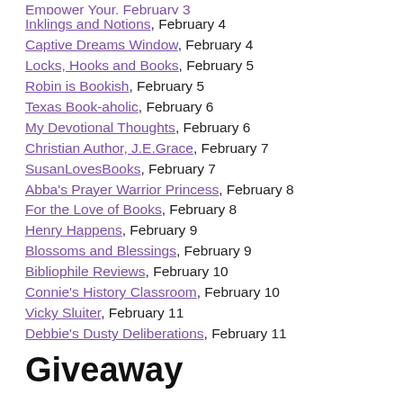Inklings and Notions, February 4
Captive Dreams Window, February 4
Locks, Hooks and Books, February 5
Robin is Bookish, February 5
Texas Book-aholic, February 6
My Devotional Thoughts, February 6
Christian Author, J.E.Grace, February 7
SusanLovesBooks, February 7
Abba's Prayer Warrior Princess, February 8
For the Love of Books, February 8
Henry Happens, February 9
Blossoms and Blessings, February 9
Bibliophile Reviews, February 10
Connie's History Classroom, February 10
Vicky Sluiter, February 11
Debbie's Dusty Deliberations, February 11
Giveaway